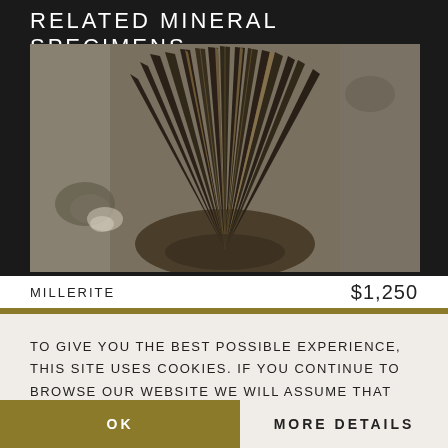RELATED MINERAL SPECIMENS
[Figure (photo): Close-up photograph of a millerite mineral specimen showing dense radiating needle-like metallic crystal formations in dark brown and gold tones against a grey rocky matrix background.]
MILLERITE   $1,250
TO GIVE YOU THE BEST POSSIBLE EXPERIENCE, THIS SITE USES COOKIES. IF YOU CONTINUE TO BROWSE OUR WEBSITE WE WILL ASSUME THAT YOU ARE HAPPY TO RECEIVE COOKIES.
OK
MORE DETAILS